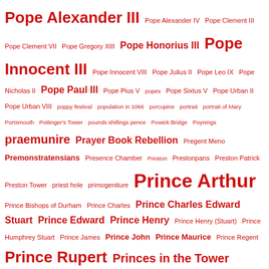Pope Alexander III Pope Alexander IV Pope Clement III Pope Clement VII Pope Gregory XIII Pope Honorius III Pope Innocent III Pope Innocent VIII Pope Julius II Pope Leo IX Pope Nicholas II Pope Paul III Pope Pius V popes Pope Sixtus V Pope Urban II Pope Urban VIII poppy festival population in 1066 porcupine portrait portrait of Mary Portsmouth Pottinger's Tower pounds shillings pence Powick Bridge Poynings praemunire Prayer Book Rebellion Pregent Meno Premonstratensians Presence Chamber Preston Prestonpans Preston Patrick Preston Tower priest hole primogeniture Prince Arthur Prince Bishops of Durham Prince Charles Prince Charles Edward Stuart Prince Edward Prince Henry Prince Henry (Stuart) Prince Humphrey Stuart Prince James Prince John Prince Maurice Prince Regent Prince Rupert Princes in the Tower Princess Alice Princess Alys Princess Amelia Princess Ann Princess Anne Princess Catherine Plantagenet Princess Cecilia Princess Charlotte Princess Elizabeth Princess Elizabeth (Stuart) Princess Joan